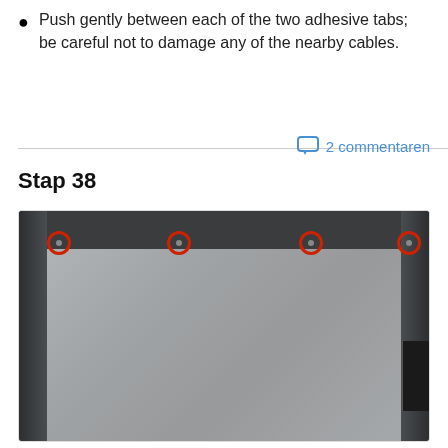Push gently between each of the two adhesive tabs; be careful not to damage any of the nearby cables.
2 commentaren
Stap 38
[Figure (photo): Photo of a tablet device interior showing a silver metal plate (likely battery or shield) with four red-circled screws along the top edge, left hinge area visible, and right connector area visible.]